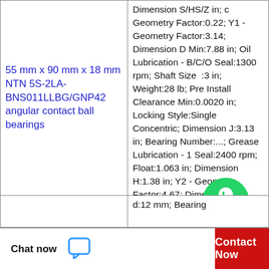| Product | Specifications |
| --- | --- |
| 55 mm x 90 mm x 18 mm NTN 5S-2LA-BNS011LLBG/GNP42 angular contact ball bearings | Dimension S/HS/Z in; c Geometry Factor:0.22; Y1 - Geometry Factor:3.14; Dimension D Min:7.88 in; Oil Lubrication - B/C/O Seal:1300 rpm; Shaft Size :3 in; Weight:28 lb; Pre Install Clearance Min:0.0020 in; Locking Style:Single Concentric; Dimension J:3.13 in; Bearing Number:...; Grease Lubrication - 1 Seal:2400 rpm; Float:1.063 in; Dimension H:1.38 in; Y2 - Geometry Factor:4.67; Dimension D Max:9.63 in; Dimension F:11.63 in; Oil Lubrication - T Seal:2900 rpm; |
|  | d:12 mm; Bearing |
[Figure (other): WhatsApp Online chat badge - green circle with phone icon and 'WhatsApp Online' text]
Chat now   Contact Now